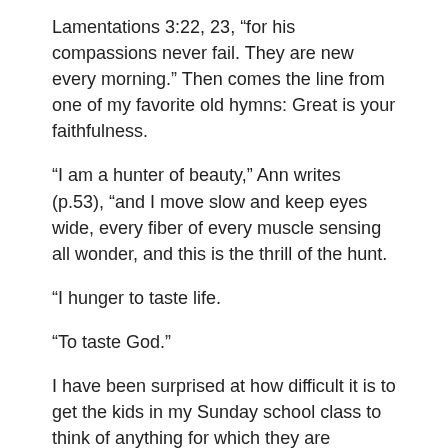Lamentations 3:22, 23, “for his compassions never fail. They are new every morning.” Then comes the line from one of my favorite old hymns: Great is your faithfulness.
“I am a hunter of beauty,” Ann writes (p.53), “and I move slow and keep eyes wide, every fiber of every muscle sensing all wonder, and this is the thrill of the hunt.
“I hunger to taste life.
“To taste God.”
I have been surprised at how difficult it is to get the kids in my Sunday school class to think of anything for which they are thankful beyond their parents, food and life in general.